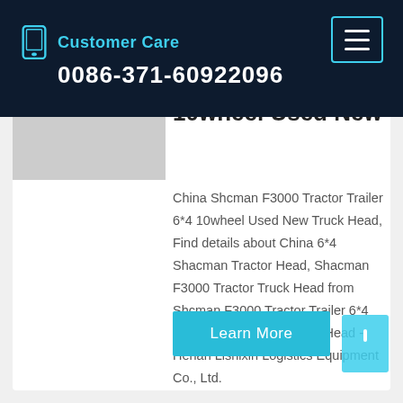Customer Care 0086-371-60922096
10wheel Used New
China Shcman F3000 Tractor Trailer 6*4 10wheel Used New Truck Head, Find details about China 6*4 Shacman Tractor Head, Shacman F3000 Tractor Truck Head from Shcman F3000 Tractor Trailer 6*4 10wheel Used New Truck Head - Henan Lishixin Logistics Equipment Co., Ltd.
Learn More